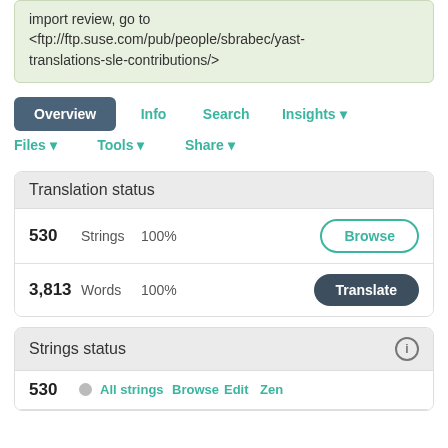import review, go to <ftp://ftp.suse.com/pub/people/sbrabec/yast-translations-sle-contributions/>
Overview
Info
Search
Insights ▾
Files ▾
Tools ▾
Share ▾
Translation status
530  Strings  100%
3,813  Words  100%
Strings status
530  All strings  Browse  Edit  Zen